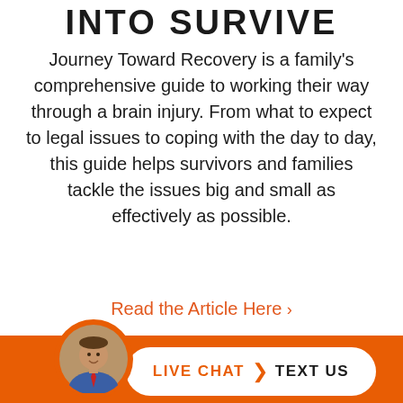INTO SURVIVE
Journey Toward Recovery is a family's comprehensive guide to working their way through a brain injury. From what to expect to legal issues to coping with the day to day, this guide helps survivors and families tackle the issues big and small as effectively as possible.
Read the Article Here ›
CASES WE HANDLE
[Figure (photo): Orange footer bar with circular avatar photo of a man in a suit and a white pill-shaped button with LIVE CHAT and TEXT US text]